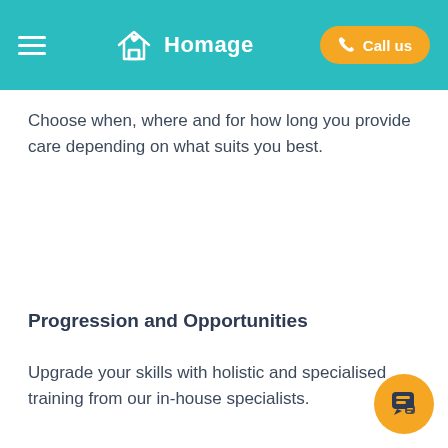Homage — Call us
Choose when, where and for how long you provide care depending on what suits you best.
Progression and Opportunities
Upgrade your skills with holistic and specialised training from our in-house specialists.